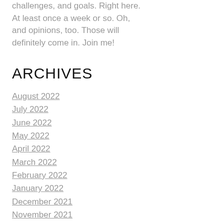challenges, and goals. Right here. At least once a week or so. Oh, and opinions, too. Those will definitely come in. Join me!
ARCHIVES
August 2022
July 2022
June 2022
May 2022
April 2022
March 2022
February 2022
January 2022
December 2021
November 2021
October 2021
September 2021